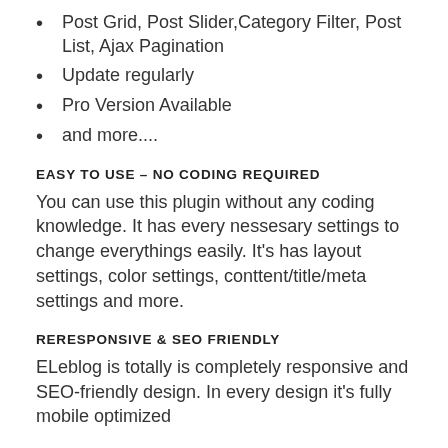Post Grid, Post Slider,Category Filter, Post List, Ajax Pagination
Update regularly
Pro Version Available
and more....
EASY TO USE – NO CODING REQUIRED
You can use this plugin without any coding knowledge. It has every nessesary settings to change everythings easily. It's has layout settings, color settings, conttent/title/meta settings and more.
RERESPONSIVE & SEO FRIENDLY
ELeblog is totally is completely responsive and SEO-friendly design. In every design it's fully mobile optimized